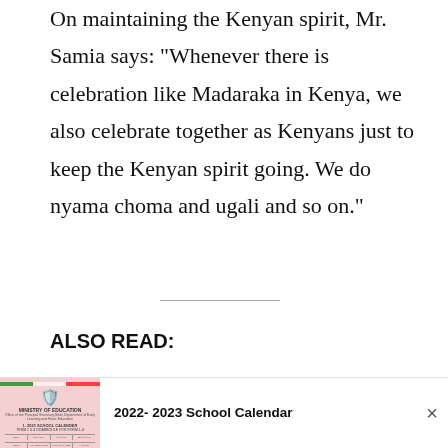On maintaining the Kenyan spirit, Mr. Samia says: “Whenever there is celebration like Madaraka in Kenya, we also celebrate together as Kenyans just to keep the Kenyan spirit going. We do nyama choma and ugali and so on.”
ALSO READ:
KNEC: January 2023 IGCSE Subjects
[Figure (screenshot): Popup banner showing a Ministry of Education school calendar document image on the left, with the title '2022- 2023 School Calendar' and a close (x) button on the right.]